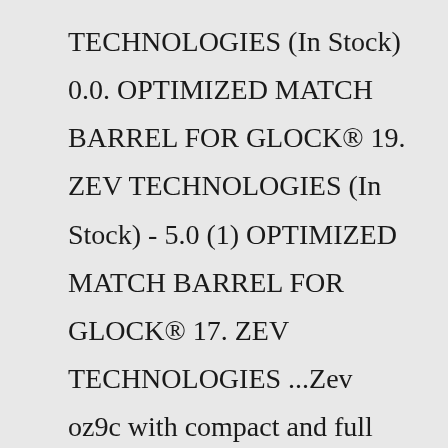TECHNOLOGIES (In Stock) 0.0. OPTIMIZED MATCH BARREL FOR GLOCK® 19. ZEV TECHNOLOGIES (In Stock) - 5.0 (1) OPTIMIZED MATCH BARREL FOR GLOCK® 17. ZEV TECHNOLOGIES ...Zev oz9c with compact and full size grip with timney alpha triggerHas available swampfox 27mm optic tlr7a and trex holster$1,600 for just the pistol $1,800 for pistol timney trigger and holster $2,100 for the whole package